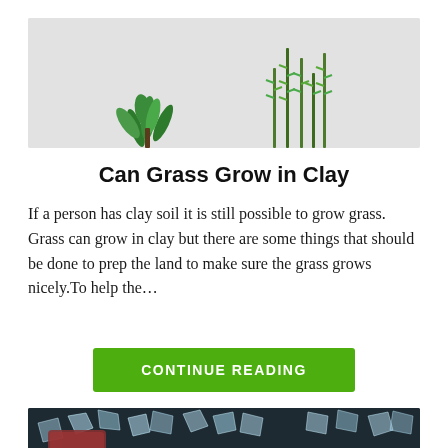[Figure (photo): Photo of green potted herbs — a basil-like plant with broad leaves on the left and rosemary sprigs on the right, against a light gray background.]
Can Grass Grow in Clay
If a person has clay soil it is still possible to grow grass. Grass can grow in clay but there are some things that should be done to prep the land to make sure the grass grows nicely.To help the…
CONTINUE READING
[Figure (photo): Close-up photo of ice cubes and a smartphone on a dark surface.]